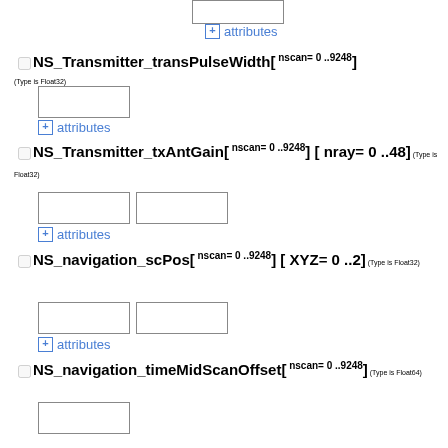[Figure (screenshot): A checkbox input box at the top of the page (partial, cropped)]
+ attributes
NS_Transmitter_transPulseWidth[ nscan= 0 ..9248] (Type is Float32)
[Figure (screenshot): Input box for NS_Transmitter_transPulseWidth]
+ attributes
NS_Transmitter_txAntGain[ nscan= 0 ..9248] [ nray= 0 ..48] (Type is Float32)
[Figure (screenshot): Two input boxes for NS_Transmitter_txAntGain]
+ attributes
NS_navigation_scPos[ nscan= 0 ..9248] [ XYZ= 0 ..2] (Type is Float32)
[Figure (screenshot): Two input boxes for NS_navigation_scPos]
+ attributes
NS_navigation_timeMidScanOffset[ nscan= 0 ..9248] (Type is Float64)
[Figure (screenshot): Input box for NS_navigation_timeMidScanOffset]
+ attributes
NS_navigation_scAttPitchGeod[ nscan= 0 ..9248] (Type is Float32)
[Figure (screenshot): Input box for NS_navigation_scAttPitchGeod]
+ attributes (partial, cropped)